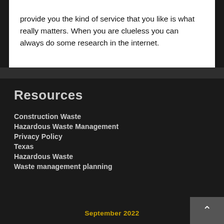provide you the kind of service that you like is what really matters. When you are clueless you can always do some research in the internet.
Resources
Construction Waste
Hazardous Waste Management
Privacy Policy
Texas
Hazardous Waste
Waste management planning
September 2022